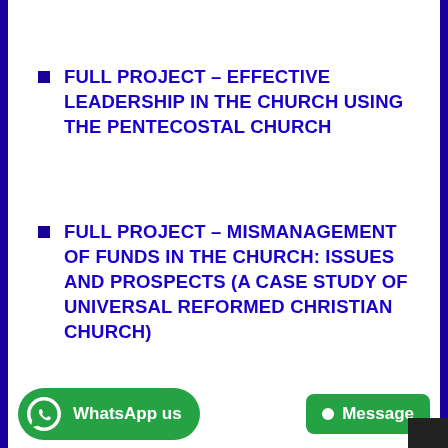FULL PROJECT – EFFECTIVE LEADERSHIP IN THE CHURCH USING THE PENTECOSTAL CHURCH
FULL PROJECT – MISMANAGEMENT OF FUNDS IN THE CHURCH: ISSUES AND PROSPECTS (A CASE STUDY OF UNIVERSAL REFORMED CHRISTIAN CHURCH)